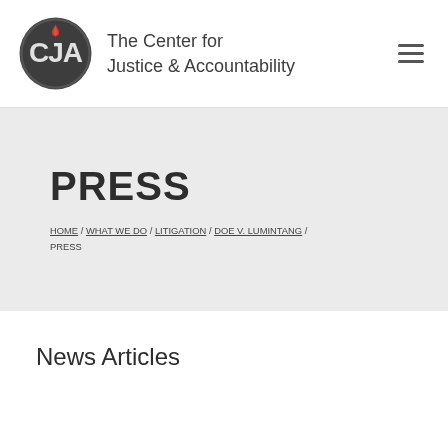The Center for Justice & Accountability
PRESS
HOME / WHAT WE DO / LITIGATION / DOE V. LUMINTANG / PRESS
News Articles